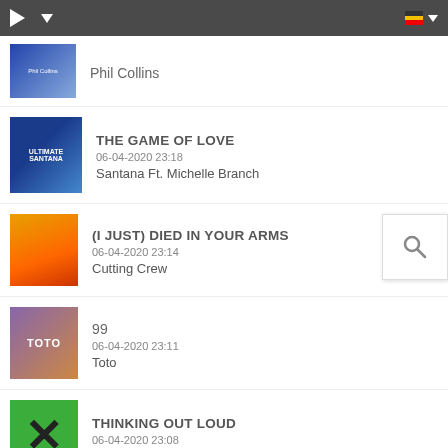Music player top bar
Phil Collins
THE GAME OF LOVE | 06-04-2020 23:18 | Santana Ft. Michelle Branch
(I JUST) DIED IN YOUR ARMS | 06-04-2020 23:14 | Cutting Crew
99 | 06-04-2020 23:11 | Toto
THINKING OUT LOUD | 06-04-2020 23:08 | Ed Sheeran
DR. BEAT